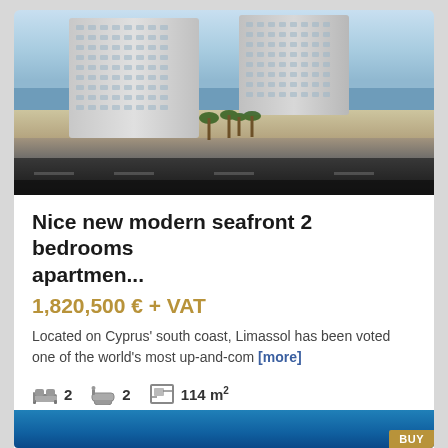[Figure (photo): Aerial rendering of modern seafront apartment complex with two tall curved white residential towers, palm trees, beach road, and ocean in background]
Nice new modern seafront 2 bedrooms apartmen...
1,820,500 € + VAT
Located on Cyprus' south coast, Limassol has been voted one of the world's most up-and-com [more]
2  2  114 m²
ID: 39687
[Figure (photo): Bottom preview strip showing blue background partial image with BUY badge]